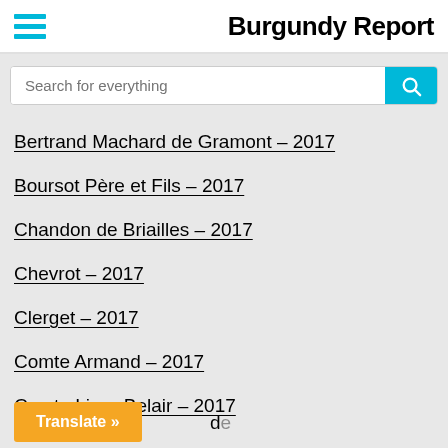Burgundy Report
Search for everything
Bertrand Machard de Gramont – 2017
Boursot Père et Fils – 2017
Chandon de Briailles – 2017
Chevrot – 2017
Clerget – 2017
Comte Armand – 2017
Comte Liger-Belair – 2017
Translate »